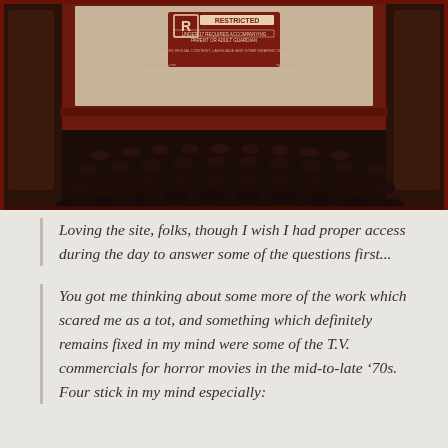[Figure (photo): A movie theater interior showing rows of seats facing a large screen displaying an MPAA R-Restricted rating card. The theater has ornate architectural details with warm lighting, and the screen shows rating information including text about restricted content.]
Loving the site, folks, though I wish I had proper access during the day to answer some of the questions first...
You got me thinking about some more of the work which scared me as a tot, and something which definitely remains fixed in my mind were some of the T.V. commercials for horror movies in the mid-to-late ‘70s. Four stick in my mind especially: